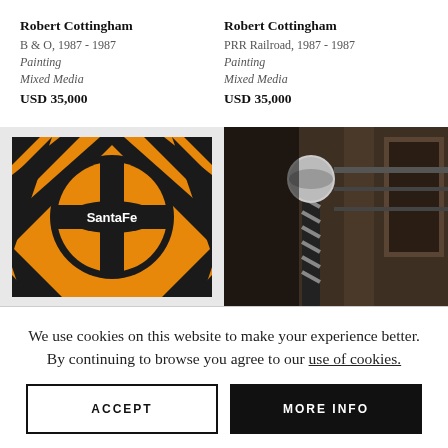Robert Cottingham
B & O, 1987 - 1987
Painting
Mixed Media
USD 35,000
Robert Cottingham
PRR Railroad, 1987 - 1987
Painting
Mixed Media
USD 35,000
[Figure (photo): Santa Fe railroad logo painting – orange background with black diagonal stripes and a circular emblem with a cross and 'Santa Fe' text]
[Figure (photo): Dark sepia-toned photograph of a barber pole and architectural details]
We use cookies on this website to make your experience better. By continuing to browse you agree to our use of cookies.
ACCEPT
MORE INFO